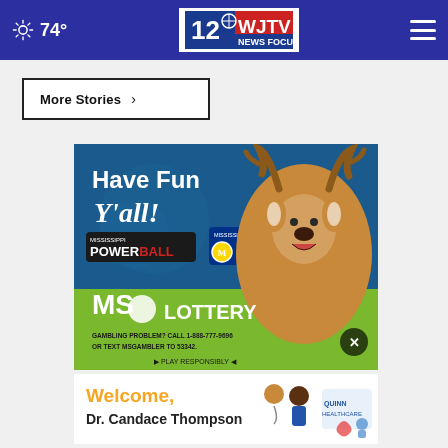WJTV News 12 — Focused on You | 74°
More Stories ›
[Figure (photo): Mississippi Lottery advertisement featuring a man in a deer costume with text 'Have Fun Y'all!' Mississippi Powerball and Mega Millions logos. Bottom section shows MS Lottery logo, 'GAMBLING PROBLEM? CALL 1-888-777-9696 OR TEXT MSGAMBLER TO 53342.' and 'PLAY RESPONSIBLY'.]
[Figure (photo): Quinn Healthcare advertisement with text 'Welcome, Dr. Candace Thompson' featuring two medical professionals and the Quinn Healthcare logo.]